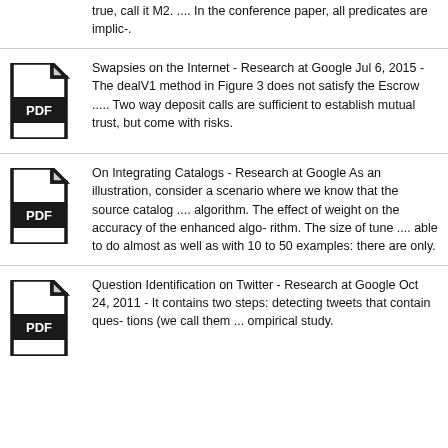true, call it M2. .... In the conference paper, all predicates are implic-.
[Figure (illustration): PDF document icon]
Swapsies on the Internet - Research at Google
Jul 6, 2015 - The dealV1 method in Figure 3 does not satisfy the Escrow ..... Two way deposit calls are sufficient to establish mutual trust, but come with risks.
[Figure (illustration): PDF document icon]
On Integrating Catalogs - Research at Google
As an illustration, consider a scenario where we know that the source catalog .... algorithm. The effect of weight on the accuracy of the enhanced algo- rithm. The size of tune .... able to do almost as well as with 10 to 50 examples: there are only.
[Figure (illustration): PDF document icon]
Question Identification on Twitter - Research at Google
Oct 24, 2011 - It contains two steps: detecting tweets that contain ques- tions (we call them ... ompirical study.